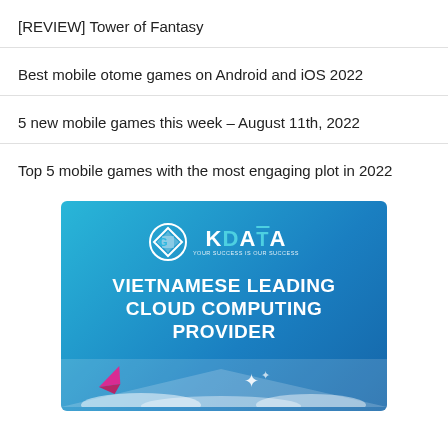[REVIEW] Tower of Fantasy
Best mobile otome games on Android and iOS 2022
5 new mobile games this week – August 11th, 2022
Top 5 mobile games with the most engaging plot in 2022
[Figure (illustration): KDATA advertisement banner — Vietnamese Leading Cloud Computing Provider, with KDATA logo, gradient blue background, paper airplane icon and sparkle stars at bottom]